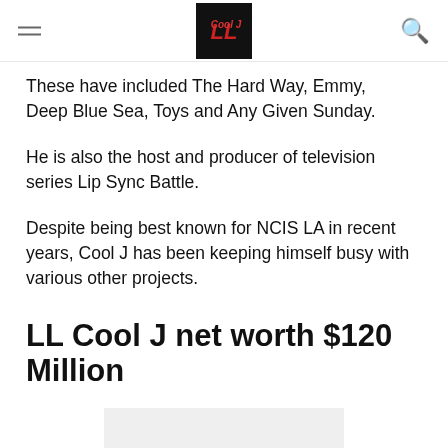These have included The Hard Way, Emmy, Deep Blue Sea, Toys and Any Given Sunday.
He is also the host and producer of television series Lip Sync Battle.
Despite being best known for NCIS LA in recent years, Cool J has been keeping himself busy with various other projects.
LL Cool J net worth $120 Million
[Figure (other): Gray placeholder image box at the bottom of the page]